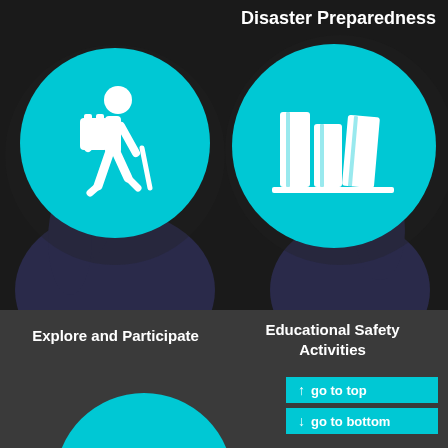Disaster Preparedness
[Figure (illustration): Teal circle with white hiking/walking person icon carrying a bag]
[Figure (illustration): Teal circle with white books/binders stacked icon]
Explore and Participate
Educational Safety Activities
[Figure (illustration): Partial teal circle visible at bottom of page]
go to top
go to bottom